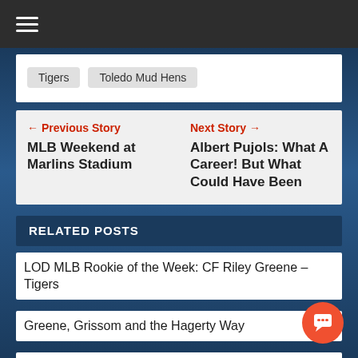Tigers
Toledo Mud Hens
← Previous Story
MLB Weekend at Marlins Stadium
Next Story →
Albert Pujols: What A Career! But What Could Have Been
RELATED POSTS
LOD MLB Rookie of the Week: CF Riley Greene – Tigers
Greene, Grissom and the Hagerty Way
Legends On Deck Podcast, Episode 12: Hosting the Game with Chelsea Cooper (USPBL)